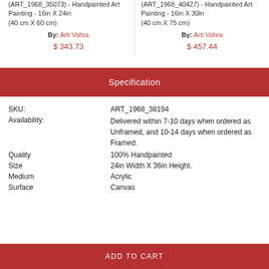(ART_1968_35073) - Handpainted Art Painting - 16in X 24in (40 cm X 60 cm)
By: Arti Vohra
$ 343.73
(ART_1968_40427) - Handpainted Art Painting - 16in X 30in (40 cm X 75 cm)
By: Arti Vohra
$ 457.44
Specification
| Field | Value |
| --- | --- |
| SKU: | ART_1968_38194 |
| Availability: | Delivered within 7-10 days when ordered as Unframed, and 10-14 days when ordered as Framed. |
| Quality | 100% Handpainted |
| Size | 24in Width X 36in Height. |
| Medium | Acrylic |
| Surface | Canvas |
ADD TO CART